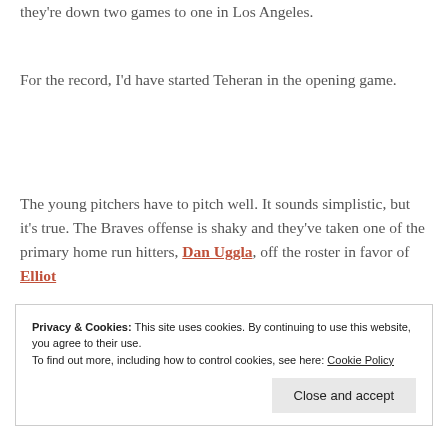they're down two games to one in Los Angeles.
For the record, I'd have started Teheran in the opening game.
The young pitchers have to pitch well. It sounds simplistic, but it's true. The Braves offense is shaky and they've taken one of the primary home run hitters, Dan Uggla, off the roster in favor of Elliot
Privacy & Cookies: This site uses cookies. By continuing to use this website, you agree to their use. To find out more, including how to control cookies, see here: Cookie Policy
Close and accept